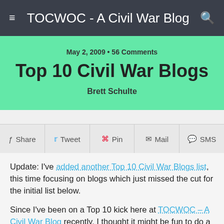TOCWOC - A Civil War Blog
May 2, 2009 • 56 Comments
Top 10 Civil War Blogs
Brett Schulte
Share  Tweet  Pin  Mail  SMS
Update: I've added another Top 10 Civil War Blogs list, this time focusing on blogs which just missed the cut for the initial list below.
Since I've been on a Top 10 kick here at TOCWOC – A Civil War Blog recently, I thought it might be fun to do a Top 10 Civil War Blogs list to highlight the best Civil War